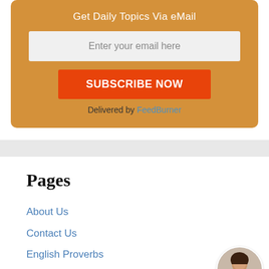Get Daily Topics Via eMail
Enter your email here
SUBSCRIBE NOW
Delivered by FeedBurner
Pages
About Us
Contact Us
English Proverbs
Essay Writing